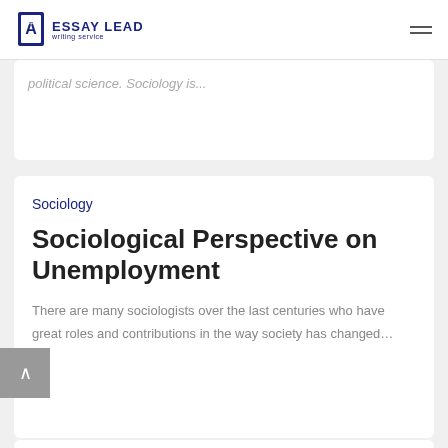Essay Lead writing service
political science. Sociology is…
Sociology
Sociological Perspective on Unemployment
There are many sociologists over the last centuries who have great roles and contributions in the way society has changed…